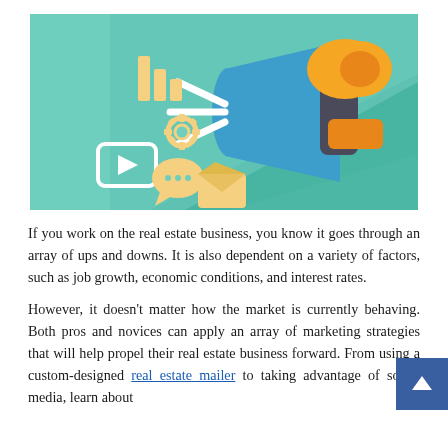[Figure (illustration): Marketing illustration with teal/green background showing a megaphone with orange and yellow colors, surrounded by icons: bar chart, gear/cog, video play button, speech bubble with dots, and envelope, with white light rays emanating from the megaphone.]
If you work on the real estate business, you know it goes through an array of ups and downs. It is also dependent on a variety of factors, such as job growth, economic conditions, and interest rates.
However, it doesn't matter how the market is currently behaving. Both pros and novices can apply an array of marketing strategies that will help propel their real estate business forward. From using a custom-designed real estate mailer to taking advantage of social media, learn about some of the most powerful real estate marketing strategies.